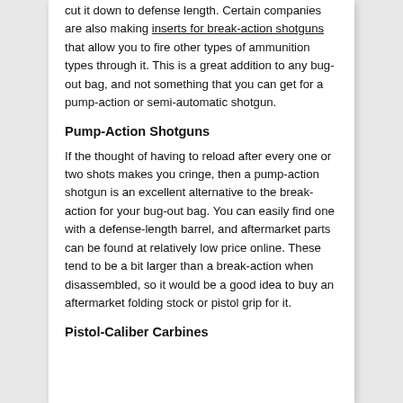cut it down to defense length. Certain companies are also making inserts for break-action shotguns that allow you to fire other types of ammunition types through it. This is a great addition to any bug-out bag, and not something that you can get for a pump-action or semi-automatic shotgun.
Pump-Action Shotguns
If the thought of having to reload after every one or two shots makes you cringe, then a pump-action shotgun is an excellent alternative to the break-action for your bug-out bag. You can easily find one with a defense-length barrel, and aftermarket parts can be found at relatively low price online. These tend to be a bit larger than a break-action when disassembled, so it would be a good idea to buy an aftermarket folding stock or pistol grip for it.
Pistol-Caliber Carbines